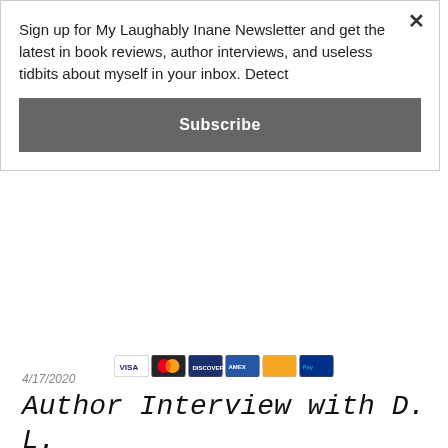Sign up for My Laughably Inane Newsletter and get the latest in book reviews, author interviews, and useless tidbits about myself in your inbox. Detect
Subscribe
[Figure (other): Row of payment card icons (Visa, Mastercard, Discover, AmEx, and others)]
4/17/2020
Author Interview with D. L. Gardner
Who are you?
Di Gar...